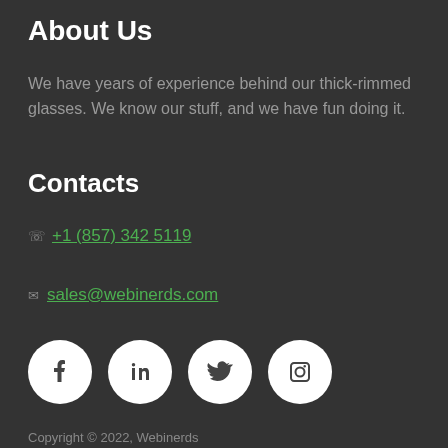About Us
We have years of experience behind our thick-rimmed glasses. We know our stuff, and we have fun doing it.
Contacts
+1 (857) 342 5119
sales@webinerds.com
[Figure (illustration): Four social media icon buttons (Facebook, LinkedIn, Twitter, Instagram) displayed as white circles on dark background]
Copyright © 2022, Webinerds